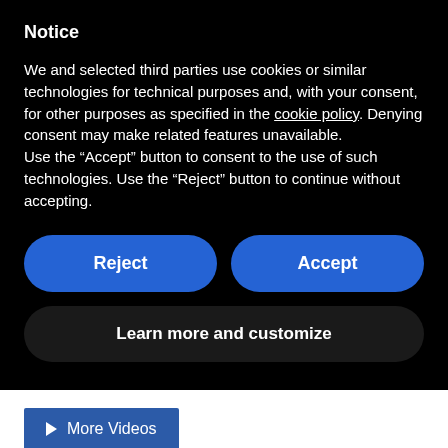Notice
We and selected third parties use cookies or similar technologies for technical purposes and, with your consent, for other purposes as specified in the cookie policy. Denying consent may make related features unavailable.
Use the “Accept” button to consent to the use of such technologies. Use the “Reject” button to continue without accepting.
Reject
Accept
Learn more and customize
► More Videos
INFORMATION